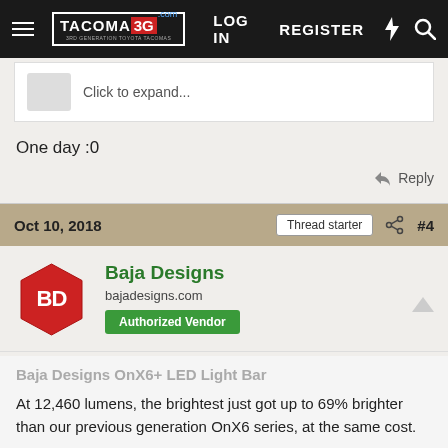TACOMA 3G | LOG IN | REGISTER
[Figure (screenshot): Collapsed post with avatar thumbnail and 'Click to expand...' text]
One day :0
Reply
Oct 10, 2018  Thread starter  #4
Baja Designs
bajadesigns.com
Authorized Vendor
Baja Designs OnX6+ LED Light Bar
At 12,460 lumens, the brightest just got up to 69% brighter than our previous generation OnX6 series, at the same cost.